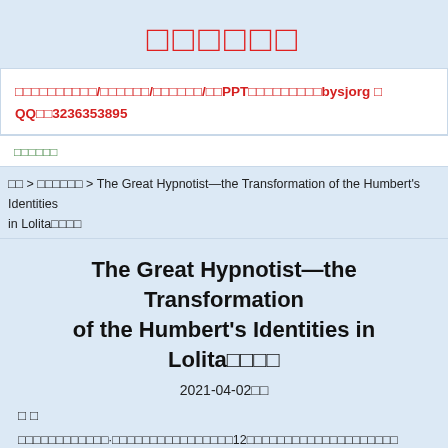□□□□□□
□□□□□□□□□□/□□□□□□/□□□□□□/□□PPT□□□□□□□□□bysjorg □ QQ□□3236353895
□□□□□□
□□ > □□□□□□ > The Great Hypnotist—the Transformation of the Humbert's Identities in Lolita□□□□
The Great Hypnotist—the Transformation of the Humbert's Identities in Lolita□□□□
2021-04-02□□
□ □
□□□□□□□□□□□□·□□□□□□□□□□□□□□□□12□□□□□□□□□□□□□□□□□□□□